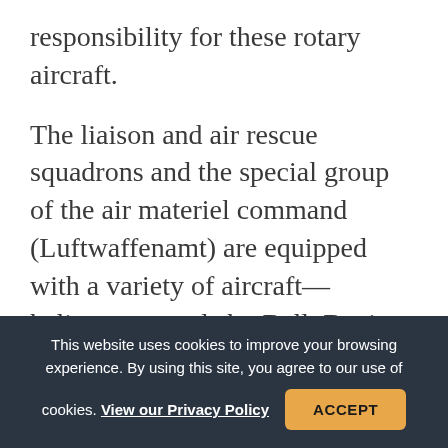responsibility for these rotary aircraft.

The liaison and air rescue squadrons and the special group of the air materiel command (Luftwaffenamt) are equipped with a variety of aircraft—helicopters made by Bell, Boeing-Vertcil, Westland, and Sikorsky; light aircraft from Piper, Dornier, and Piaggio; C-47s, DC-6s, and Lockheed JetStars. These and many more, good and bad, old and new, hand-me-downs, and aircraft for which the Luftwaffe paid hard cash—the approximately sixty different
This website uses cookies to improve your browsing experience. By using this site, you agree to our use of cookies. View our Privacy Policy